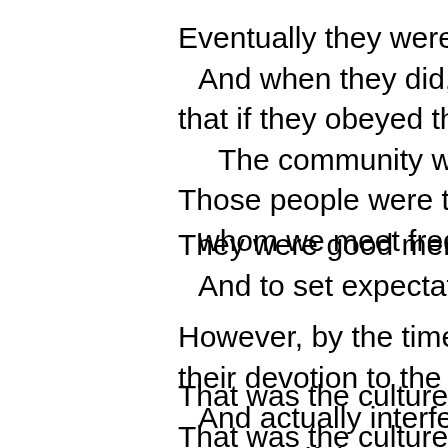Eventually they were allowed to return. And when they did, a group developed that if they obeyed the law to the letter, The community would please God. Those people were the Pharisees — whom we meet frequently during...
They were good men who tried hard. And to set expectations for the people.
However, by the time Jesus undertook their devotion to the law became slavish. And actually interfered with their mission. It was as if they worshipped the law.
That was the culture when Jesus was... That was the culture which Jesus saw. When Jesus healed on the Sabbath...